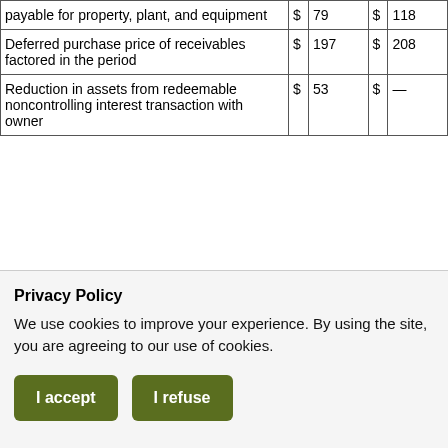| payable for property, plant, and equipment | $ | 79 | $ | 118 |
| Deferred purchase price of receivables factored in the period | $ | 197 | $ | 208 |
| Reduction in assets from redeemable noncontrolling interest transaction with owner | $ | 53 | $ | — |
ATTACHMENT 2
Privacy Policy
We use cookies to improve your experience. By using the site, you are agreeing to our use of cookies.